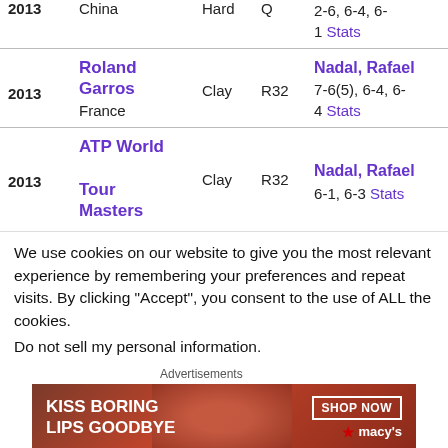| Year | Tournament | Surface | Round | Opponent / Score |
| --- | --- | --- | --- | --- |
| 2013 | China | Hard | Q | 2-6, 6-4, 6-1 Stats |
| 2013 | Roland Garros France | Clay | R32 | Nadal, Rafael 7-6(5), 6-4, 6-4 Stats |
| 2013 | ATP World Tour Masters | Clay | R32 | Nadal, Rafael 6-1, 6-3 Stats |
We use cookies on our website to give you the most relevant experience by remembering your preferences and repeat visits. By clicking “Accept”, you consent to the use of ALL the cookies.
Do not sell my personal information.
[Figure (illustration): Advertisement banner: KISS BORING LIPS GOODBYE with SHOP NOW and Macy’s logo]